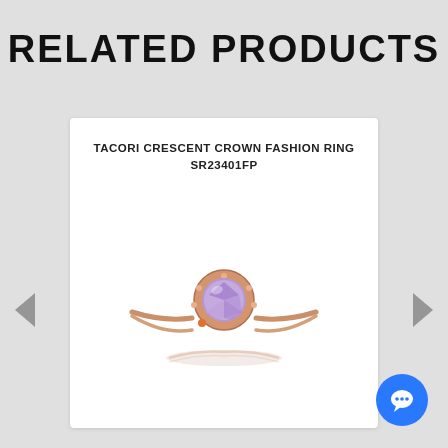RELATED PRODUCTS
TACORI CRESCENT CROWN FASHION RING
SR23401FP
[Figure (photo): A rose gold fashion ring with a round purple/violet gemstone in a decorative crown setting, shown with a faint reflection below it. The ring has a thin band and ornate beaded details around the stone setting.]
[Figure (other): Left navigation arrow (grey triangle pointing left)]
[Figure (other): Right navigation arrow (grey triangle pointing right)]
[Figure (other): Blue circular chat button with white speech bubble icon]